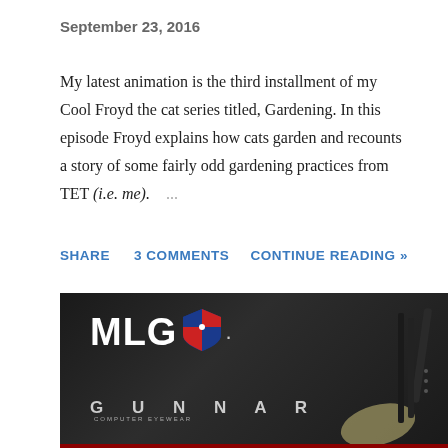September 23, 2016
My latest animation is the third installment of my Cool Froyd the cat series titled, Gardening. In this episode Froyd explains how cats garden and recounts a story of some fairly odd gardening practices from TET (i.e. me).  ...
SHARE   3 COMMENTS   CONTINUE READING »
[Figure (photo): Photo of an MLG Gunnar Computer Eyewear product box on a white surface. The black box has the MLG logo (white text with shield icon) on top and GUNNAR COMPUTER EYEWEAR text along the front. Glasses are partially visible to the right side of the box.]